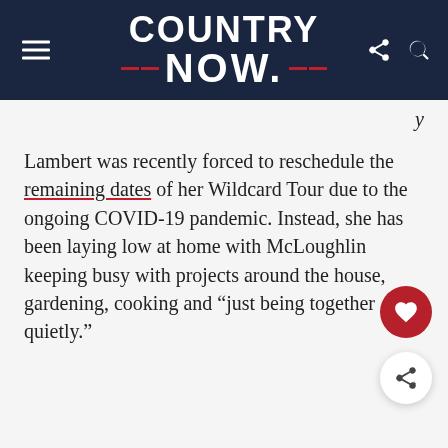COUNTRY NOW
Lambert was recently forced to reschedule the remaining dates of her Wildcard Tour due to the ongoing COVID-19 pandemic. Instead, she has been laying low at home with McLoughlin keeping busy with projects around the house, gardening, cooking and “just being together quietly.”